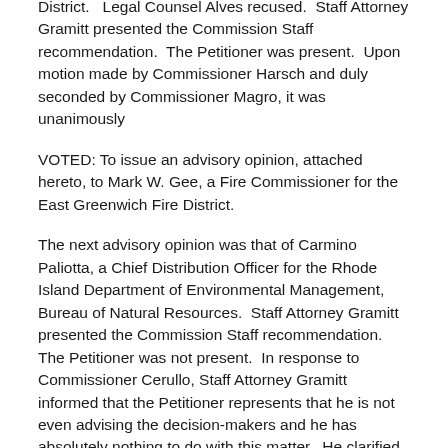District.   Legal Counsel Alves recused.  Staff Attorney Gramitt presented the Commission Staff recommendation.  The Petitioner was present.  Upon motion made by Commissioner Harsch and duly seconded by Commissioner Magro, it was unanimously
VOTED: To issue an advisory opinion, attached hereto, to Mark W. Gee, a Fire Commissioner for the East Greenwich Fire District.
The next advisory opinion was that of Carmino Paliotta, a Chief Distribution Officer for the Rhode Island Department of Environmental Management, Bureau of Natural Resources.  Staff Attorney Gramitt presented the Commission Staff recommendation.  The Petitioner was not present.  In response to Commissioner Cerullo, Staff Attorney Gramitt informed that the Petitioner represents that he is not even advising the decision-makers and he has absolutely nothing to do with this matter.  He clarified that the Petitioner represents that he is in